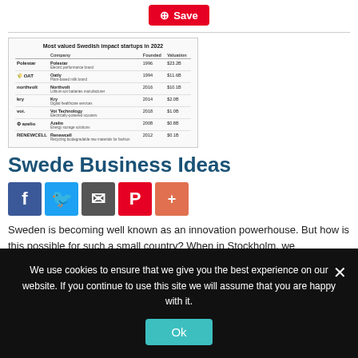[Figure (other): Pinterest Save button with pin icon, red background]
[Figure (table-as-image): Most valued Swedish impact startups in 2022 table showing companies: Polestar, Oatly, Northvolt, Kry, Voi Technology, Azelio, Renewcell with Founded and Valuation columns]
Swede Business Ideas
[Figure (other): Social sharing icons: Facebook, Twitter, Email, Pinterest, Plus]
Sweden is becoming well known as an innovation powerhouse. But how is this possible for such a small country? When in Stockholm, we
We use cookies to ensure that we give you the best experience on our website. If you continue to use this site we will assume that you are happy with it.